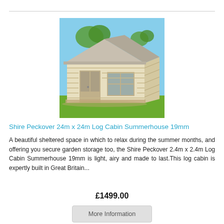[Figure (photo): Photo of a Shire Peckover log cabin summerhouse with light wood exterior, double glazed doors and windows, pitched roof, set on grass with trees in background]
Shire Peckover 24m x 24m Log Cabin Summerhouse 19mm
A beautiful sheltered space in which to relax during the summer months, and offering you secure garden storage too, the Shire Peckover 2.4m x 2.4m Log Cabin Summerhouse 19mm is light, airy and made to last.This log cabin is expertly built in Great Britain...
£1499.00
More Information